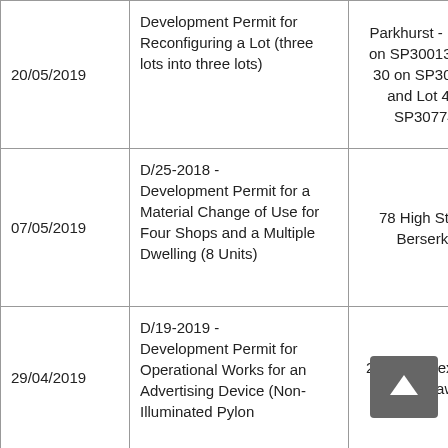| Date | Description | Address | Links |
| --- | --- | --- | --- |
| 20/05/2019 | Development Permit for Reconfiguring a Lot (three lots into three lots) | Parkhurst - Lot 20 on SP300132, Lot 30 on SP300133 and Lot 4 on SP307743 | C |
| 07/05/2019 | D/25-2018 - Development Permit for a Material Change of Use for Four Shops and a Multiple Dwelling (8 Units) | 78 High Street, Berserker | A
Pla |
| 29/04/2019 | D/19-2019 - Development Permit for Operational Works for an Advertising Device (Non-Illuminated Pylon | 288-290 Alexandra Street, Kawana | A |